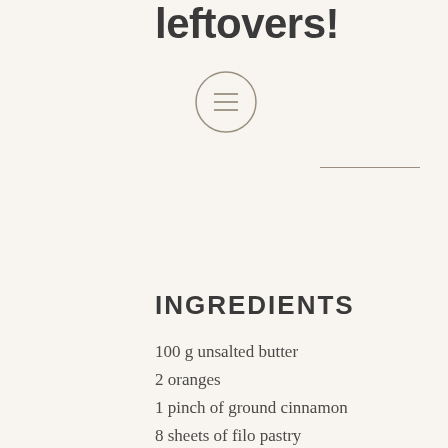leftovers!
[Figure (illustration): A circular icon with three horizontal lines (menu/list icon) inside a circle outline]
INGREDIENTS
100 g unsalted butter
2 oranges
1 pinch of ground cinnamon
8 sheets of filo pastry
1 heaped teaspoon demerara sugar , plus extra for sprinkling
400 g leftover goodies , such as Christmas pudding, mince pies
a handful of mixed nuts
50 g good-quality chocolate (70% cocoa solids) , or chocolate money